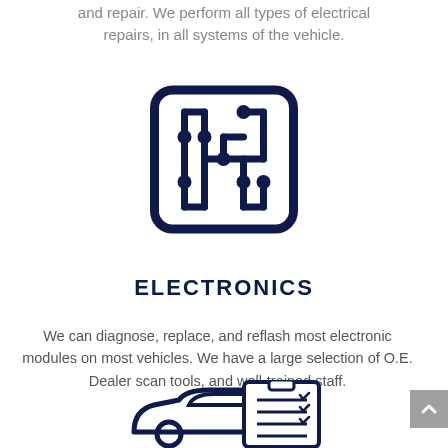and repair. We perform all types of electrical repairs, in all systems of the vehicle.
[Figure (illustration): Circuit board icon with rounded rectangle border in dark navy blue, showing circuit traces and connection nodes]
ELECTRONICS
We can diagnose, replace, and reflash most electronic modules on most vehicles. We have a large selection of O.E. Dealer scan tools, and well-trained staff.
[Figure (illustration): Car with clipboard inspection checklist icon in dark navy blue]